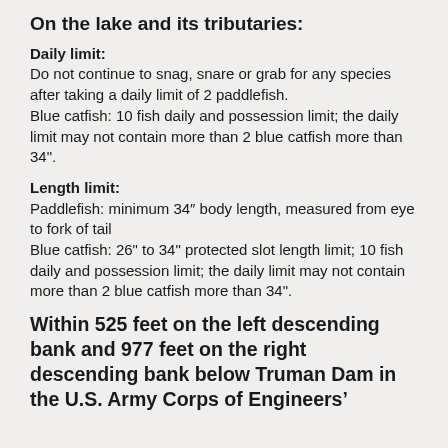On the lake and its tributaries:
Daily limit:
Do not continue to snag, snare or grab for any species after taking a daily limit of 2 paddlefish.
Blue catfish: 10 fish daily and possession limit; the daily limit may not contain more than 2 blue catfish more than 34".
Length limit:
Paddlefish: minimum 34″ body length, measured from eye to fork of tail
Blue catfish: 26" to 34" protected slot length limit; 10 fish daily and possession limit; the daily limit may not contain more than 2 blue catfish more than 34".
Within 525 feet on the left descending bank and 977 feet on the right descending bank below Truman Dam in the U.S. Army Corps of Engineers’